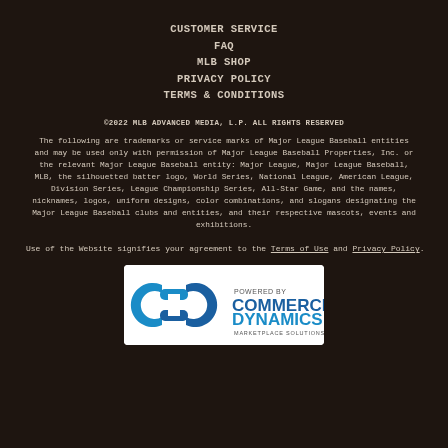CUSTOMER SERVICE
FAQ
MLB SHOP
PRIVACY POLICY
TERMS & CONDITIONS
©2022 MLB ADVANCED MEDIA, L.P. ALL RIGHTS RESERVED
The following are trademarks or service marks of Major League Baseball entities and may be used only with permission of Major League Baseball Properties, Inc. or the relevant Major League Baseball entity: Major League, Major League Baseball, MLB, the silhouetted batter logo, World Series, National League, American League, Division Series, League Championship Series, All-Star Game, and the names, nicknames, logos, uniform designs, color combinations, and slogans designating the Major League Baseball clubs and entities, and their respective mascots, events and exhibitions.
Use of the Website signifies your agreement to the Terms of Use and Privacy Policy.
[Figure (logo): Commerce Dynamics Marketplace Solutions logo — blue chain-link CD icon with text POWERED BY COMMERCE DYNAMICS MARKETPLACE SOLUTIONS]